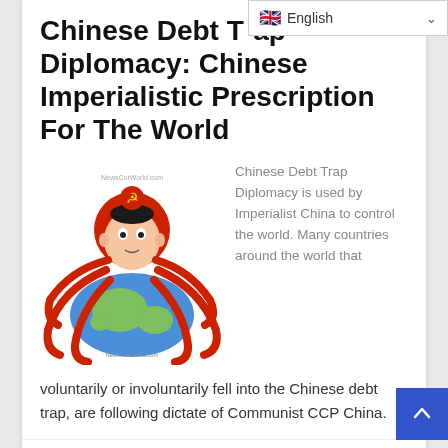Chinese Debt Trap Diplomacy: Chinese Imperialistic Prescription For The World
[Figure (illustration): Illustration of a red octopus with a face resembling Xi Jinping, a communist hammer-and-sickle symbol on its head, wrapping its tentacles around a globe. Website watermark 'NewsCorWorld.com' visible.]
Chinese Debt Trap Diplomacy is used by Imperialist China to control the world. Many countries around the world that voluntarily or involuntarily fell into the Chinese debt trap, are following dictate of Communist CCP China.